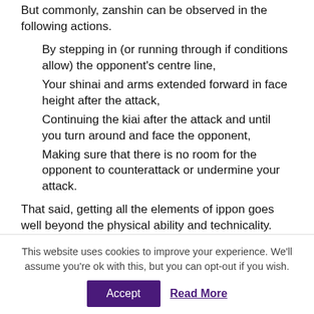But commonly, zanshin can be observed in the following actions.
By stepping in (or running through if conditions allow) the opponent's centre line,
Your shinai and arms extended forward in face height after the attack,
Continuing the kiai after the attack and until you turn around and face the opponent,
Making sure that there is no room for the opponent to counterattack or undermine your attack.
That said, getting all the elements of ippon goes well beyond the physical ability and technicality. Yuko datotsu (making a successful ippon) comes
This website uses cookies to improve your experience. We'll assume you're ok with this, but you can opt-out if you wish.